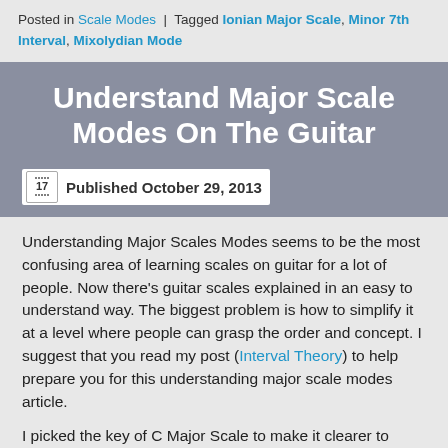Posted in Scale Modes | Tagged Ionian Major Scale, Minor 7th Interval, Mixolydian Mode
Understand Major Scale Modes On The Guitar
Published October 29, 2013
Understanding Major Scales Modes seems to be the most confusing area of learning scales on guitar for a lot of people. Now there's guitar scales explained in an easy to understand way. The biggest problem is how to simplify it at a level where people can grasp the order and concept. I suggest that you read my post (Interval Theory) to help prepare you for this understanding major scale modes article.
I picked the key of C Major Scale to make it clearer to understand, because there are no (b- Flats, #-Sharps) accidentals. Every scale has modes if it's a five note scale there's five modes, six notes – six modes. The major scales